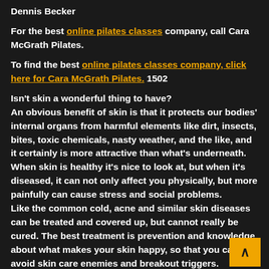Dennis Becker
For the best online pilates classes company, call Cara McGrath Pilates.
To find the best online pilates classes company, click here for Cara McGrath Pilates. 1502
Isn't skin a wonderful thing to have?
An obvious benefit of skin is that it protects our bodies' internal organs from harmful elements like dirt, insects, bites, toxic chemicals, nasty weather, and the like, and it certainly is more attractive than what's underneath.
When skin is healthy it's nice to look at, but when it's diseased, it can not only affect you physically, but more painfully can cause stress and social problems.
Like the common cold, acne and similar skin diseases can be treated and covered up, but cannot really be cured. The best treatment is prevention and knowledge about what makes your skin happy, so that you can avoid skin care enemies and breakout triggers.
The real cause of acne can vary from individual to individual,